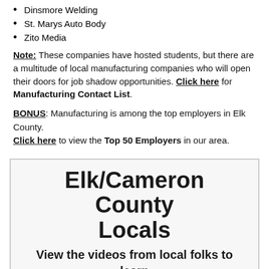Dinsmore Welding
St. Marys Auto Body
Zito Media
Note: These companies have hosted students, but there are a multitude of local manufacturing companies who will open their doors for job shadow opportunities. Click here for Manufacturing Contact List.
BONUS: Manufacturing is among the top employers in Elk County. Click here to view the Top 50 Employers in our area.
Elk/Cameron County Locals
View the videos from local folks to learn more about this career
Owner, Sales Manager, & President